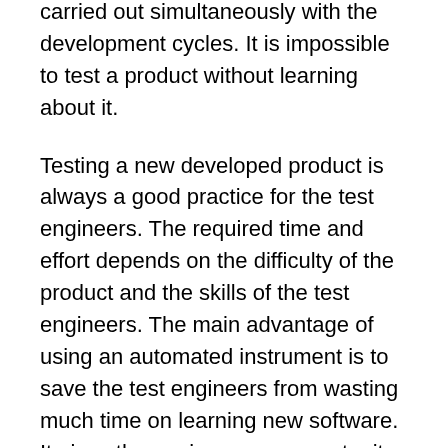carried out simultaneously with the development cycles. It is impossible to test a product without learning about it.
Testing a new developed product is always a good practice for the test engineers. The required time and effort depends on the difficulty of the product and the skills of the test engineers. The main advantage of using an automated instrument is to save the test engineers from wasting much time on learning new software. It gives the engineers an opportunity to concentrate on more serious problems.
Software testing helps to find defects in an application and make sure that it meet all the necessary requirements. Throughout